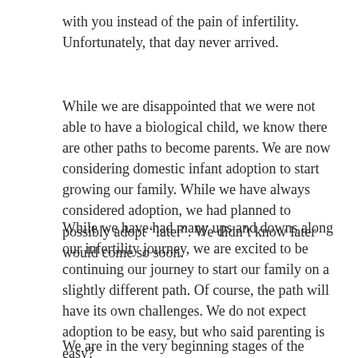with you instead of the pain of infertility. Unfortunately, that day never arrived.
While we are disappointed that we were not able to have a biological child, we know there are other paths to become parents. We are now considering domestic infant adoption to start growing our family. While we have always considered adoption, we had planned to possibly adopt “later”. We didn’t know later would come so soon.
While we have had many ups and downs along our infertility journey, we are excited to be continuing our journey to start our family on a slightly different path. Of course, the path will have its own challenges. We do not expect adoption to be easy, but who said parenting is easy?
We are in the very beginning stages of the adoption